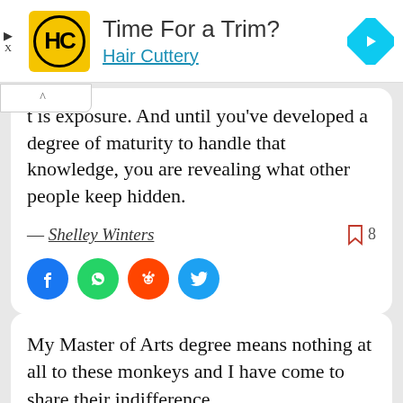[Figure (screenshot): Advertisement banner for Hair Cuttery with yellow HC logo, 'Time For a Trim?' headline, blue underlined 'Hair Cuttery' text, and a blue navigation diamond icon on the right.]
t is exposure. And until you've developed a degree of maturity to handle that knowledge, you are revealing what other people keep hidden.
— Shelley Winters
[Figure (infographic): Social share buttons: Facebook (blue circle), WhatsApp (green circle), Reddit (orange circle), Twitter (blue circle). Bookmark icon with number 8.]
My Master of Arts degree means nothing at all to these monkeys and I have come to share their indifference.